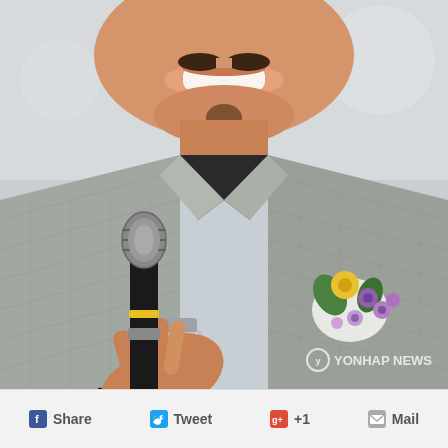[Figure (photo): A smiling man with a mustache holding a microphone up to his mouth, wearing a grey plaid blazer with a floral corsage (white, yellow, and purple flowers) and a silver watch. He wears a black v-neck shirt underneath. A YONHAP NEWS watermark appears in the lower right corner of the photo.]
f Share   Tweet   g+ +1   Mail